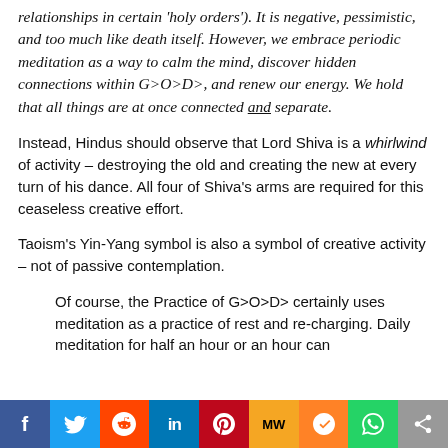relationships in certain 'holy orders'). It is negative, pessimistic, and too much like death itself. However, we embrace periodic meditation as a way to calm the mind, discover hidden connections within G>O>D>, and renew our energy. We hold that all things are at once connected and separate.
Instead, Hindus should observe that Lord Shiva is a whirlwind of activity – destroying the old and creating the new at every turn of his dance. All four of Shiva's arms are required for this ceaseless creative effort.
Taoism's Yin-Yang symbol is also a symbol of creative activity – not of passive contemplation.
Of course, the Practice of G>O>D> certainly uses meditation as a practice of rest and re-charging. Daily meditation for half an hour or an hour can
[Figure (other): Social sharing bar with icons for Facebook, Twitter, Reddit, LinkedIn, Pinterest, MeWe, Mix, WhatsApp, and a share button]